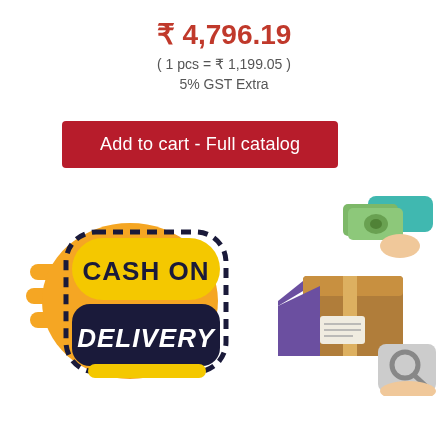₹ 4,796.19
( 1 pcs = ₹ 1,199.05 )
5% GST Extra
Add to cart - Full catalog
[Figure (logo): Cash on Delivery logo: yellow pill-shaped badge with 'CASH ON' text, dark navy badge with 'DELIVERY' text, orange speed lines on left]
[Figure (illustration): Illustration of a delivery person handing a cardboard box and receiving cash, with a magnifying glass icon in the bottom right corner]